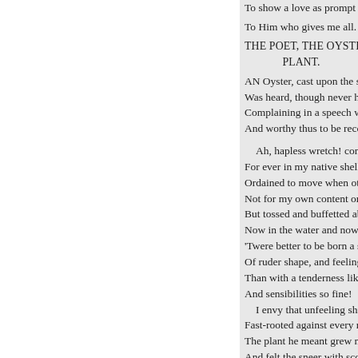To show a love as prompt u...
To Him who gives me all.
THE POET, THE OYSTER, AN
PLANT.
AN Oyster, cast upon the sh
Was heard, though never he
Complaining in a speech we
And worthy thus to be recor
Ah, hapless wretch! conde
For ever in my native shell;
Ordained to move when oth
Not for my own content or e
But tossed and buffetted abo
Now in the water and now o
'Twere better to be born a st
Of ruder shape, and feeling
Than with a tenderness like
And sensibilities so fine!
 I envy that unfeeling shrub
Fast-rooted against every ru
The plant he meant grew no
And felt the sneer with sco